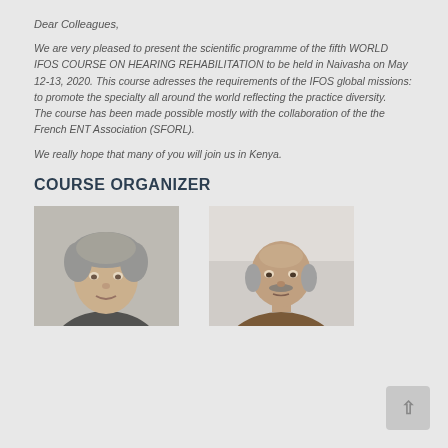Dear Colleagues,
We are very pleased to present the scientific programme of the fifth WORLD IFOS COURSE ON HEARING REHABILITATION to be held in Naivasha on May 12-13, 2020. This course adresses the requirements of the IFOS global missions: to promote the specialty all around the world reflecting the practice diversity.
The course has been made possible mostly with the collaboration of the the French ENT Association (SFORL).
We really hope that many of you will join us in Kenya.
COURSE ORGANIZER
[Figure (photo): Portrait photo of course organizer 1, a man with grey hair]
[Figure (photo): Portrait photo of course organizer 2, a bald man with a moustache]